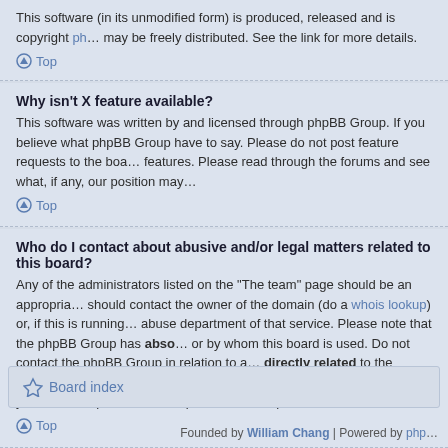This software (in its unmodified form) is produced, released and is copyright ph... may be freely distributed. See the link for more details.
Top
Why isn't X feature available?
This software was written by and licensed through phpBB Group. If you believe what phpBB Group have to say. Please do not post feature requests to the boa... features. Please read through the forums and see what, if any, our position may...
Top
Who do I contact about abusive and/or legal matters related to this board?
Any of the administrators listed on the "The team" page should be an appropria... should contact the owner of the domain (do a whois lookup) or, if this is running... abuse department of that service. Please note that the phpBB Group has abso... or by whom this board is used. Do not contact the phpBB Group in relation to a... directly related to the phpBB.com website or the discrete software of phpBB it... software then you should expect a terse response or no response at all.
Top
Board index
Founded by William Chang | Powered by php...